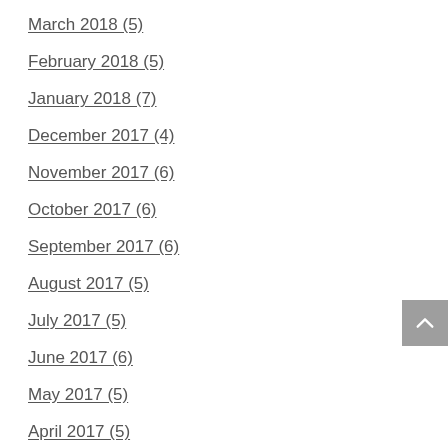March 2018 (5)
February 2018 (5)
January 2018 (7)
December 2017 (4)
November 2017 (6)
October 2017 (6)
September 2017 (6)
August 2017 (5)
July 2017 (5)
June 2017 (6)
May 2017 (5)
April 2017 (5)